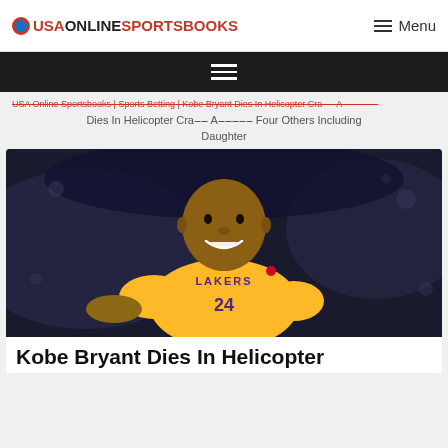USA ONLINE SPORTSBOOKS | Menu
USA Online Sportsbooks | Sports Betting | Kobe Bryant Dies In Helicopter Crash Among Four Others Including Daughter
[Figure (photo): Kobe Bryant smiling in a yellow Lakers #24 jersey on a basketball court]
Kobe Bryant Dies In Helicopter